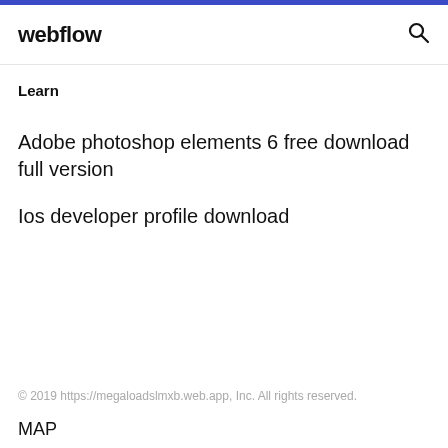webflow
Learn
Adobe photoshop elements 6 free download full version
Ios developer profile download
© 2019 https://megaloadslmxb.web.app, Inc. All rights reserved.
MAP